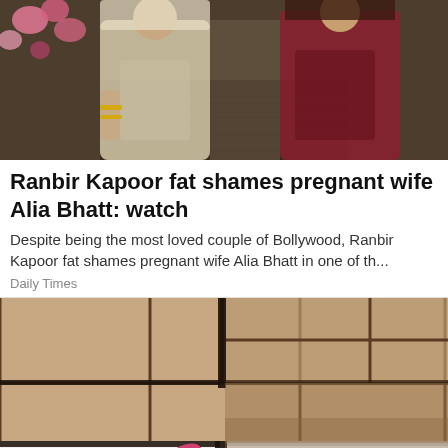[Figure (photo): Two women in traditional Indian attire posing together, with colorful flowers in the background.]
Ranbir Kapoor fat shames pregnant wife Alia Bhatt: watch
Despite being the most loved couple of Bollywood, Ranbir Kapoor fat shames pregnant wife Alia Bhatt in one of th...
Daily Times
[Figure (photo): A pink rubber-gloved hand pointing at dark mold on white bathroom tile grout in a corner where tiles meet a bathtub.]